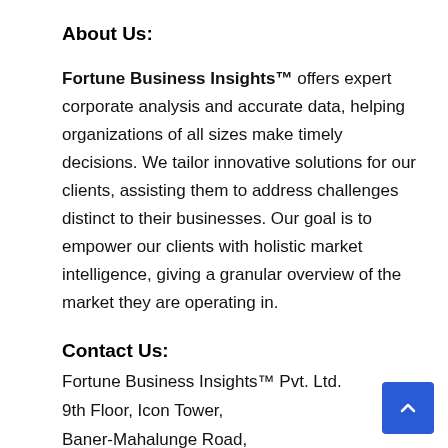About Us:
Fortune Business Insights™ offers expert corporate analysis and accurate data, helping organizations of all sizes make timely decisions. We tailor innovative solutions for our clients, assisting them to address challenges distinct to their businesses. Our goal is to empower our clients with holistic market intelligence, giving a granular overview of the market they are operating in.
Contact Us:
Fortune Business Insights™ Pvt. Ltd.
9th Floor, Icon Tower,
Baner-Mahalunge Road,
Baner, Pune-411045, Maharashtra, India.